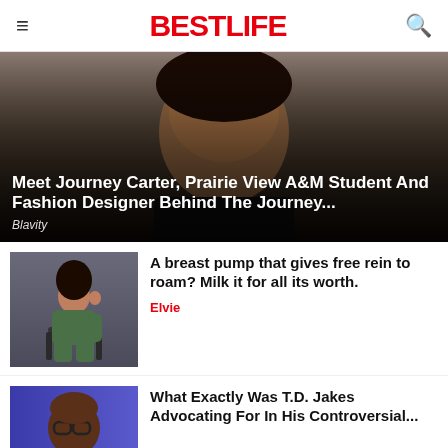BestLife
[Figure (photo): Young Black woman smiling, wearing hoop earrings and a black top, portrait photo with gradient overlay showing article title 'Meet Journey Carter, Prairie View A&M Student And Fashion Designer Behind The Journey...' and source 'Blavity']
Meet Journey Carter, Prairie View A&M Student And Fashion Designer Behind The Journey...
Blavity
[Figure (photo): Woman in green outfit sitting on a chair against a grey background]
A breast pump that gives free rein to roam? Milk it for all its worth.
Elvie
[Figure (photo): Man wearing glasses, partial view, blue background]
What Exactly Was T.D. Jakes Advocating For In His Controversial...